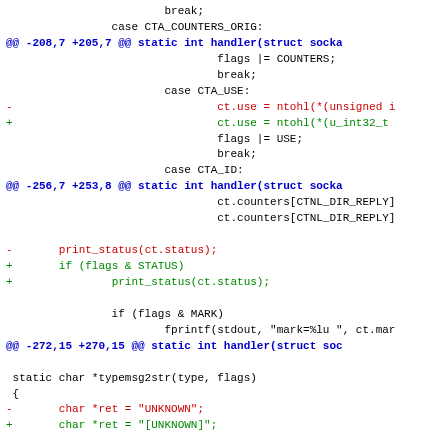[Figure (screenshot): Unified diff output of C source code showing changes to a kernel/networking handler function. Lines in blue are diff hunk headers, red lines are deletions, green lines are additions, and black lines are context.]